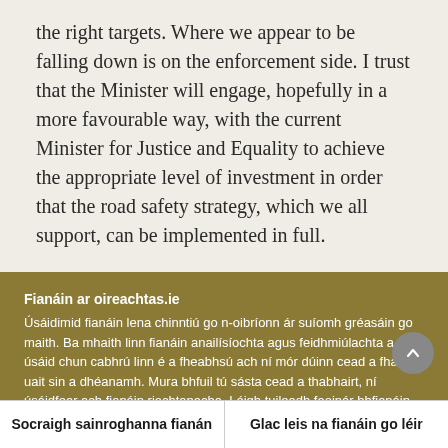the right targets. Where we appear to be falling down is on the enforcement side. I trust that the Minister will engage, hopefully in a more favourable way, with the current Minister for Justice and Equality to achieve the appropriate level of investment in order that the road safety strategy, which we all support, can be implemented in full.
Fianáin ar oireachtas.ie
Úsáidimid fianáin lena chinntiú go n-oibríonn ár suíomh gréasáin go maith. Ba mhaith linn fianáin anailísíochta agus feidhmiúlachta a úsáid chun cabhrú linn é a fheabhsú ach ní mór dúinn cead a fháil uait sin a dhéanamh. Mura bhfuil tú sásta cead a thabhairt, ní úsáidfear ach fianáin riachtanacha. Léigh tuileadh faoinár bhfianáin
Socraigh sainroghanna fianán | Glac leis na fianáin go léir